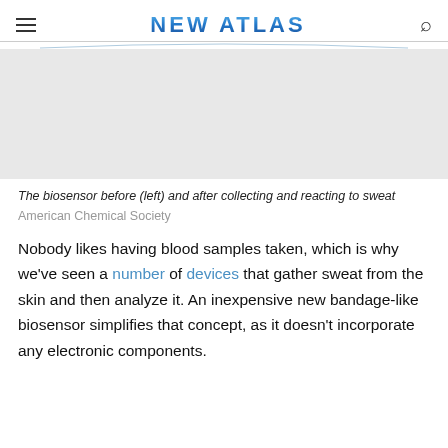NEW ATLAS
The biosensor before (left) and after collecting and reacting to sweat  American Chemical Society
Nobody likes having blood samples taken, which is why we've seen a number of devices that gather sweat from the skin and then analyze it. An inexpensive new bandage-like biosensor simplifies that concept, as it doesn't incorporate any electronic components.